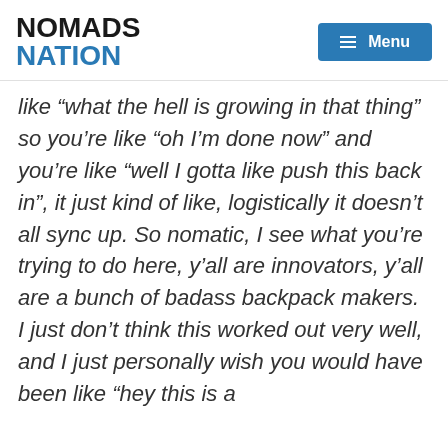NOMADS NATION  ☰ Menu
like “what the hell is growing in that thing” so you’re like “oh I’m done now” and you’re like “well I gotta like push this back in”, it just kind of like, logistically it doesn’t all sync up. So nomatic, I see what you’re trying to do here, y’all are innovators, y’all are a bunch of badass backpack makers. I just don’t think this worked out very well, and I just personally wish you would have been like “hey this is a